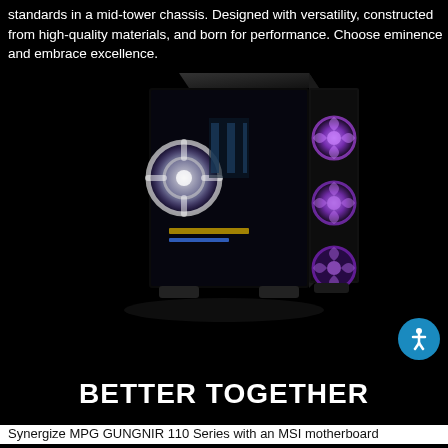standards in a mid-tower chassis. Designed with versatility, constructed from high-quality materials, and born for performance. Choose eminence and embrace excellence.
[Figure (photo): MSI MPG GUNGNIR 110 mid-tower PC case with tempered glass side panel showing RGB fans glowing purple and white, viewed from a three-quarter front angle against a black background]
BETTER TOGETHER
Synergize MPG GUNGNIR 110 Series with an MSI motherboard